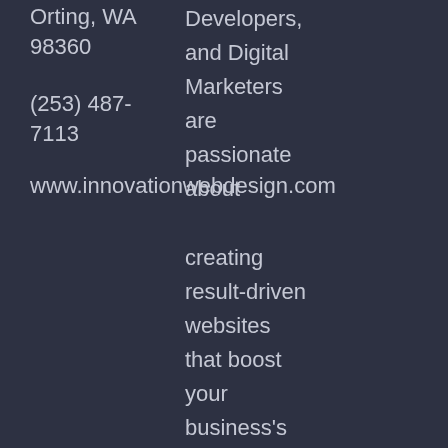Orting, WA 98360
(253) 487-7113
www.innovationwebdesign.com
Developers, and Digital Marketers are passionate about creating result-driven websites that boost your business's online potential. So lets us help you build a